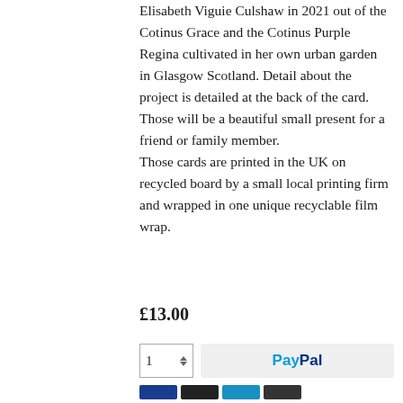Elisabeth Viguie Culshaw in 2021 out of the Cotinus Grace and the Cotinus Purple Regina cultivated in her own urban garden in Glasgow Scotland. Detail about the project is detailed at the back of the card. Those will be a beautiful small present for a friend or family member.
Those cards are printed in the UK on recycled board by a small local printing firm and wrapped in one unique recyclable film wrap.
£13.00